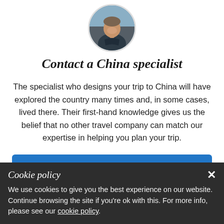[Figure (photo): Circular avatar photo of a smiling man outdoors]
Contact a China specialist
The specialist who designs your trip to China will have explored the country many times and, in some cases, lived there. Their first-hand knowledge gives us the belief that no other travel company can match our expertise in helping you plan your trip.
REQUEST A QUOTE
Cookie policy
We use cookies to give you the best experience on our website. Continue browsing the site if you're ok with this. For more info, please see our cookie policy.